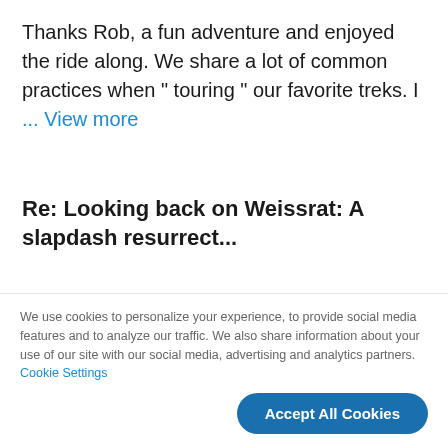Thanks Rob, a fun adventure and enjoyed the ride along. We share a lot of common practices when " touring " our favorite treks. I ... View more
Re: Looking back on Weissrat: A slapdash resurrect...
by JEL395 in Hagerty Articles
09-05-2022 12:28 AM
We use cookies to personalize your experience, to provide social media features and to analyze our traffic. We also share information about your use of our site with our social media, advertising and analytics partners. Cookie Settings
Accept All Cookies